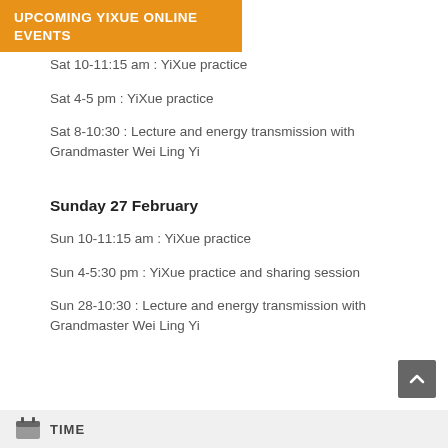UPCOMING YIXUE ONLINE EVENTS
Sat 10-11:15 am : YiXue practice
Sat 4-5 pm : YiXue practice
Sat 8-10:30 : Lecture and energy transmission with Grandmaster Wei Ling Yi
Sunday 27 February
Sun 10-11:15 am : YiXue practice
Sun 4-5:30 pm : YiXue practice and sharing session
Sun 28-10:30 : Lecture and energy transmission with Grandmaster Wei Ling Yi
TIME